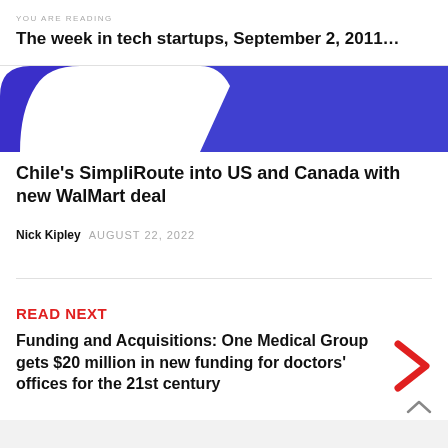YOU ARE READING
The week in tech startups, September 2, 2011…
[Figure (illustration): Hero banner image with blue/indigo abstract shapes on white background, containing a dark blue arc on the left and a large indigo/blue rectangle on the right]
Chile's SimpliRoute into US and Canada with new WalMart deal
Nick Kipley   AUGUST 22, 2022
READ NEXT
Funding and Acquisitions: One Medical Group gets $20 million in new funding for doctors' offices for the 21st century